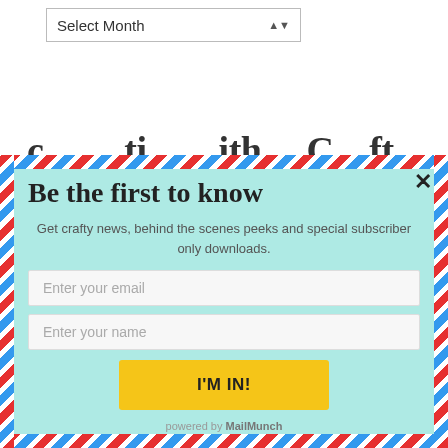Select Month
Be the first to know
Get crafty news, behind the scenes peeks and special subscriber only downloads.
Enter your email
Enter your name
I'M IN!
powered by MailMunch